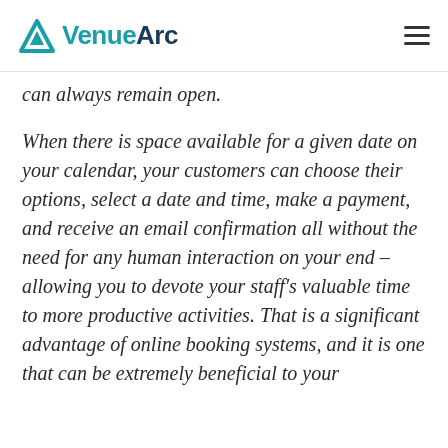VenueArc
can always remain open.
When there is space available for a given date on your calendar, your customers can choose their options, select a date and time, make a payment, and receive an email confirmation all without the need for any human interaction on your end – allowing you to devote your staff's valuable time to more productive activities. That is a significant advantage of online booking systems, and it is one that can be extremely beneficial to your